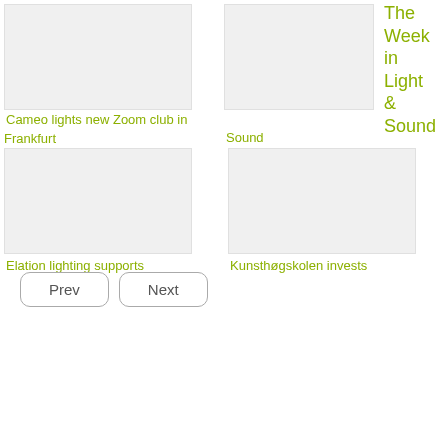[Figure (photo): Image placeholder top-left article photo]
Cameo lights new Zoom club in Frankfurt
[Figure (photo): Image placeholder top-right masthead/logo area]
The Week in Light & Sound
[Figure (photo): Image placeholder bottom-left article photo]
Elation lighting supports
[Figure (photo): Image placeholder bottom-right article photo]
Kunsthøgskolen invests